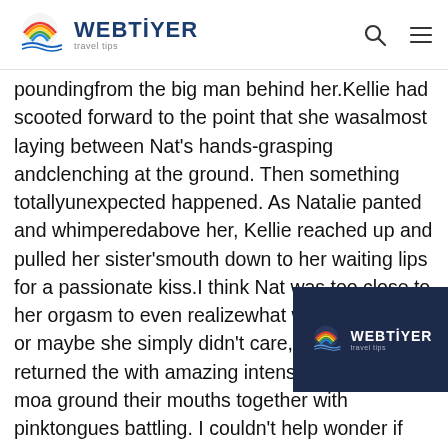WEBTIYER travel tips
poundingfrom the big man behind her.Kellie had scooted forward to the point that she wasalmost laying between Nat's hands-grasping andclenching at the ground. Then something totallyunexpected happened. As Natalie panted and whimperedabove her, Kellie reached up and pulled her sister'smouth down to her waiting lips for a passionate kiss.I think Nat was too close to her orgasm to even realizewhat was happening, or maybe she simply didn't care,but she returned the with amazing intensity. Theyboth moa ground their mouths together with pinktongues battling. I couldn't help wonder if
[Figure (logo): WebTiyer logo watermark on dark navy background]